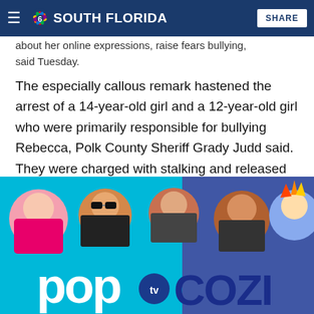NBC 6 South Florida
about her online expressions, raise fears bullying, said Tuesday.
The especially callous remark hastened the arrest of a 14-year-old girl and a 12-year-old girl who were primarily responsible for bullying Rebecca, Polk County Sheriff Grady Judd said. They were charged with stalking and released to their parents.
'"Yes, I bullied Rebecca and she killed herself but I don't give a ...' and you can add the last word yourself," the sheriff said, quoting a Facebook post the older girl made Saturday.
[Figure (photo): Pop TV and Cozi TV advertisement banner with colorful cartoon character heads on a teal/cyan background]